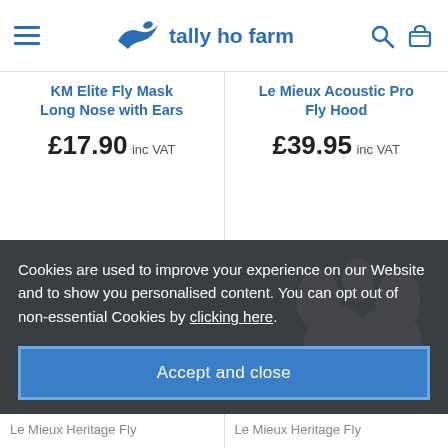tally ho farm
KM Elite Fly Mask Long Nose with Ears £17.90 inc VAT
Le Mieux Acoustic Pro Fly Hood £39.95 inc VAT
Cookies are used to improve your experience on our Website and to show you personalised content. You can opt out of non-essential Cookies by clicking here.
Accept and close
Le Mieux Heritage Fly
Le Mieux Heritage Fly